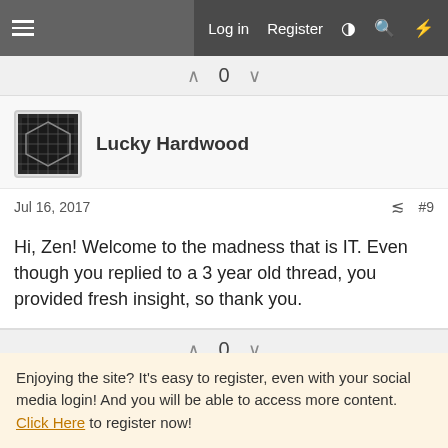Log in  Register
0
Lucky Hardwood
Jul 16, 2017  #9
Hi, Zen! Welcome to the madness that is IT. Even though you replied to a 3 year old thread, you provided fresh insight, so thank you.
0
jax_rox
Enjoying the site? It's easy to register, even with your social media login! And you will be able to access more content. Click Here to register now!